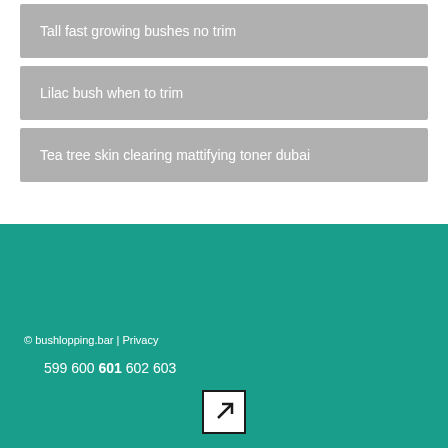Tall fast growing bushes no trim
Lilac bush when to trim
Tea tree skin clearing mattifying toner dubai
© bushlopping.bar | Privacy
599 600 601 602 603